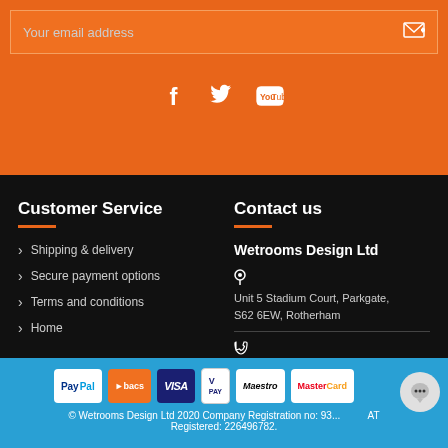Your email address
[Figure (illustration): Social media icons: Facebook, Twitter, YouTube on orange background]
Customer Service
Shipping & delivery
Secure payment options
Terms and conditions
Home
Contact us
Wetrooms Design Ltd
Unit 5 Stadium Court, Parkgate, S62 6EW, Rotherham
0800 368 9956 · 0207 193 0953
shop@wetroomsdesign.co.uk
[Figure (logo): Payment method logos: PayPal, Bacs, Visa, V Pay, Maestro, MasterCard]
© Wetrooms Design Ltd 2020 Company Registration no: 93... AT Registered: 226496782.